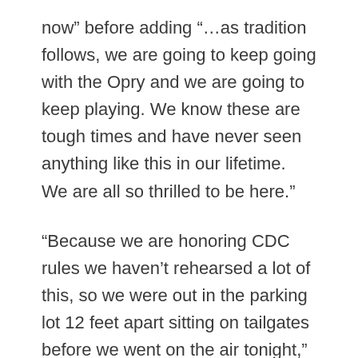now” before adding “…as tradition follows, we are going to keep going with the Opry and we are going to keep playing. We know these are tough times and have never seen anything like this in our lifetime. We are all so thrilled to be here.”
“Because we are honoring CDC rules we haven’t rehearsed a lot of this, so we were out in the parking lot 12 feet apart sitting on tailgates before we went on the air tonight,” laughed Clark before introducing Alaina. “Now that’s country. That’s the Opry.”
The the so kicked off the show with